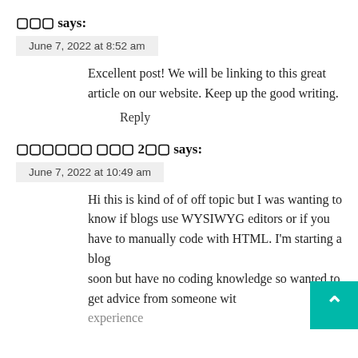□□□ says:
June 7, 2022 at 8:52 am
Excellent post! We will be linking to this great article on our website. Keep up the good writing.
Reply
□□□□□□ □□□ 2□□ says:
June 7, 2022 at 10:49 am
Hi this is kind of of off topic but I was wanting to know if blogs use WYSIWYG editors or if you have to manually code with HTML. I'm starting a blog soon but have no coding knowledge so wanted to get advice from someone with experience